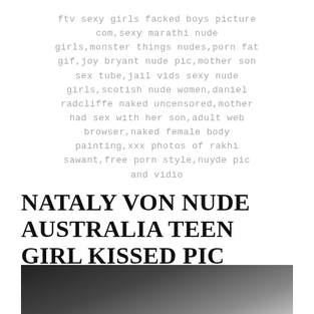ftv sexy girls facked boys picture com,sexy marathi nude girls,monster things nudes,porn fat gif,joy bryant nude pic,mother son sex tube,jail vids sexy nude girls,scotish nude women,daniel radcliffe naked uncensored,mother had sex with her son,adult web browser,naked female body painting,xxx photos of rakhi sawant,free porn style,nuyde pic and vidio
NATALY VON NUDE AUSTRALIA TEEN GIRL KISSED PIC TAML SCOL SXE
[Figure (photo): Partial photo of a person in dark clothing against a grey background]